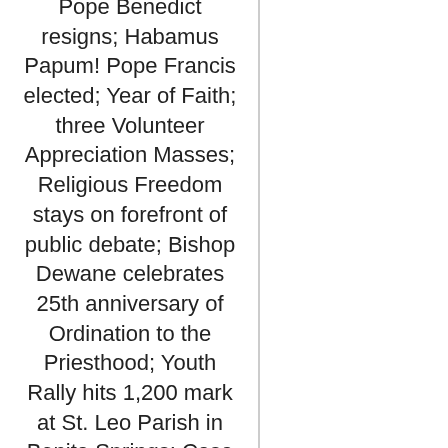Pope Benedict resigns; Habamus Papum! Pope Francis elected; Year of Faith; three Volunteer Appreciation Masses; Religious Freedom stays on forefront of public debate; Bishop Dewane celebrates 25th anniversary of Ordination to the Priesthood; Youth Rally hits 1,200 mark at St. Leo Parish in Bonita Springs; Casa Maria